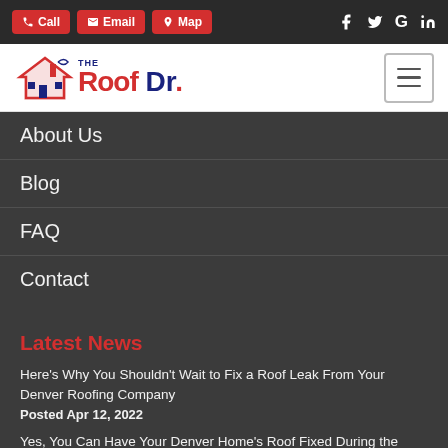Call | Email | Map | Facebook | Twitter | Google | LinkedIn
[Figure (logo): The Roof Dr. logo with house/roof icon in red and blue]
About Us
Blog
FAQ
Contact
Latest News
Here’s Why You Shouldn’t Wait to Fix a Roof Leak From Your Denver Roofing Company
Posted Apr 12, 2022
Yes, You Can Have Your Denver Home’s Roof Fixed During the Winter Time